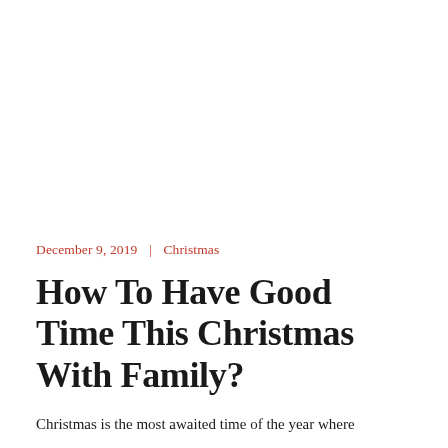December 9, 2019  |  Christmas
How To Have Good Time This Christmas With Family?
Christmas is the most awaited time of the year where